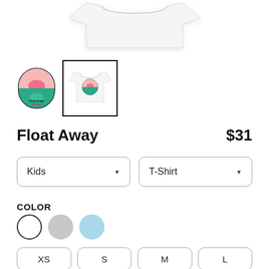[Figure (photo): White kids t-shirt product photo at top of page]
[Figure (logo): Float Away DelFest circular logo thumbnail with teal river landscape and pink sun]
[Figure (photo): Selected thumbnail showing kids t-shirt with DelFest logo, highlighted with black border]
Float Away
$31
Kids
T-Shirt
COLOR
XS
S
M
L